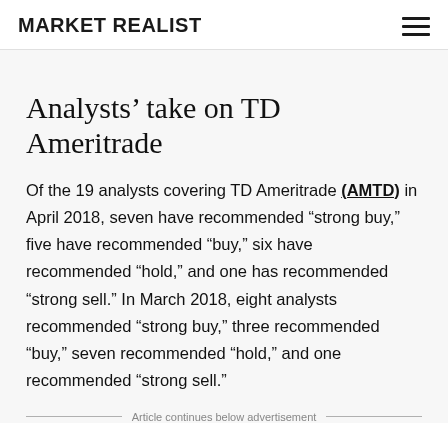MARKET REALIST
Analysts&#x2019; take on TD Ameritrade
Of the 19 analysts covering TD Ameritrade (AMTD) in April 2018, seven have recommended “strong buy,” five have recommended “buy,” six have recommended “hold,” and one has recommended “strong sell.” In March 2018, eight analysts recommended “strong buy,” three recommended “buy,” seven recommended “hold,” and one recommended “strong sell.”
Article continues below advertisement